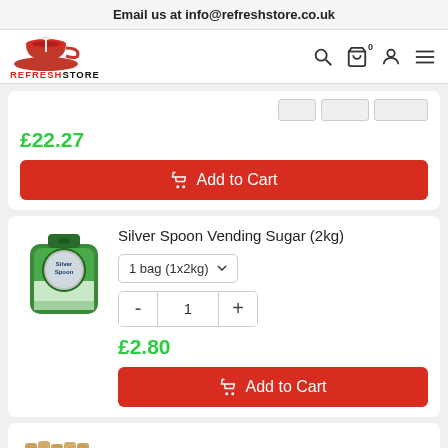Email us at info@refreshstore.co.uk
[Figure (logo): RefreshStore logo with red teacup/saucer icon and REFRESHSTORE text]
£22.27
Add to Cart
Silver Spoon Vending Sugar (2kg)
1 bag (1x2kg)
- 1 +
£2.80
Add to Cart
Stirrer - Wooden Stick 4" (1000)